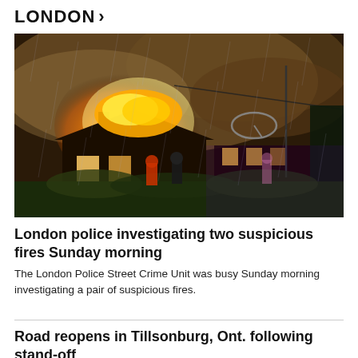LONDON >
[Figure (photo): Night-time photo of firefighters standing in front of a house engulfed in flames, with smoke filling the sky and orange fire visible on the roof. A satellite dish is visible on the structure. Rain appears to be falling.]
London police investigating two suspicious fires Sunday morning
The London Police Street Crime Unit was busy Sunday morning investigating a pair of suspicious fires.
Road reopens in Tillsonburg, Ont. following stand-off